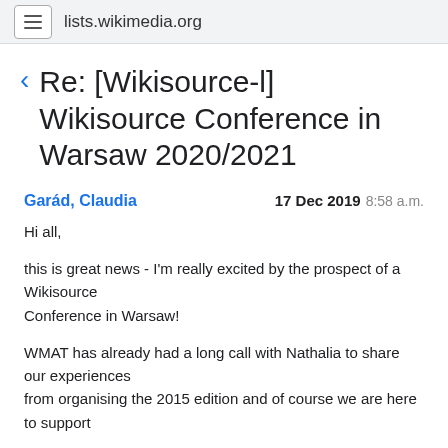lists.wikimedia.org
Re: [Wikisource-l] Wikisource Conference in Warsaw 2020/2021
Garád, Claudia   17 Dec 2019 8:58 a.m.
Hi all,

this is great news - I'm really excited by the prospect of a Wikisource Conference in Warsaw!

WMAT has already had a long call with Nathalia to share our experiences from organising the 2015 edition and of course we are here to support